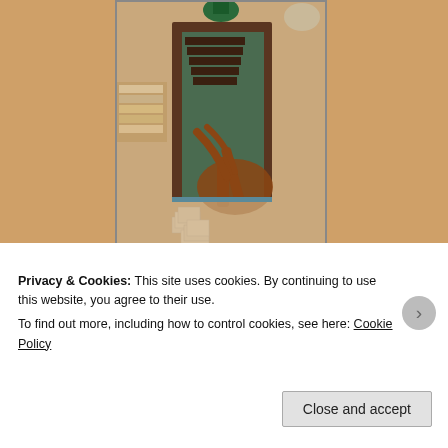[Figure (photo): Aerial/overhead view of what appears to be a library or bookstore interior, showing staircases, bookshelves, and wooden furniture/railings shot from above.]
For this pic I had my eyes closed when I stepped to the ba snapped the photo! Even looking at it now makes me slig
Privacy & Cookies: This site uses cookies. By continuing to use this website, you agree to their use.
To find out more, including how to control cookies, see here: Cookie Policy
Close and accept